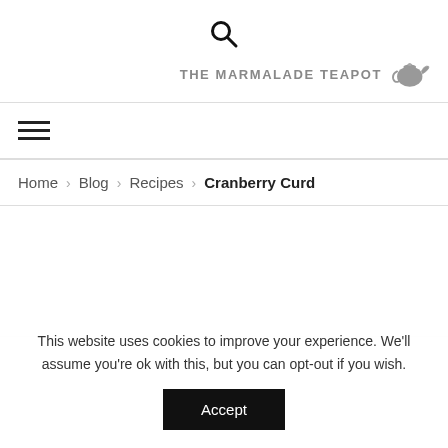[Figure (illustration): Search magnifying glass icon centered at top of page]
The Marmalade Teapot
[Figure (illustration): Teapot silhouette icon in gray next to brand name]
[Figure (illustration): Hamburger menu icon (three horizontal lines)]
Home > Blog > Recipes > Cranberry Curd
This website uses cookies to improve your experience. We'll assume you're ok with this, but you can opt-out if you wish.